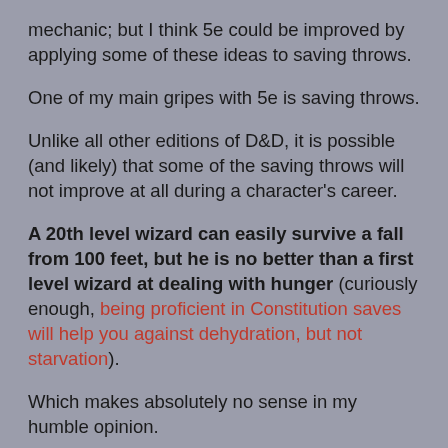mechanic; but I think 5e could be improved by applying some of these ideas to saving throws.
One of my main gripes with 5e is saving throws.
Unlike all other editions of D&D, it is possible (and likely) that some of the saving throws will not improve at all during a character's career.
A 20th level wizard can easily survive a fall from 100 feet, but he is no better than a first level wizard at dealing with hunger (curiously enough, being proficient in Constitution saves will help you against dehydration, but not starvation).
Which makes absolutely no sense in my humble opinion.
But to save AGAINST a spell cast by a 20th level wizard is going to be considerably harder for a 20th level fighter if she is not proficient in the right saves.
This is the exact opposite of old school D&D, where